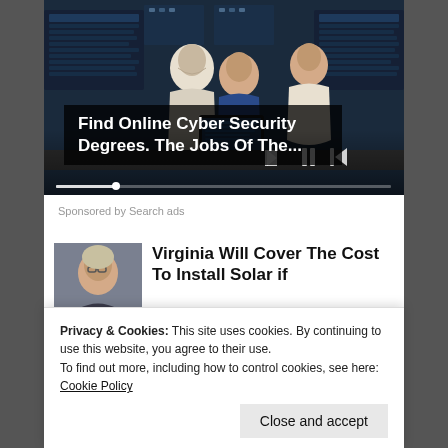[Figure (photo): Dark cybersecurity themed image showing three people working at computers in a dimly lit room with screens behind them. Video player controls visible at the bottom.]
Find Online Cyber Security Degrees. The Jobs Of The...
Sponsored by Search ads
[Figure (photo): Thumbnail of a woman with gray/blonde hair and glasses - article about Virginia solar cost coverage]
Virginia Will Cover The Cost To Install Solar if
[Figure (photo): Thumbnail of Trump - article about Home Cost]
Trump's Home Cost
Privacy & Cookies: This site uses cookies. By continuing to use this website, you agree to their use.
To find out more, including how to control cookies, see here: Cookie Policy
Close and accept